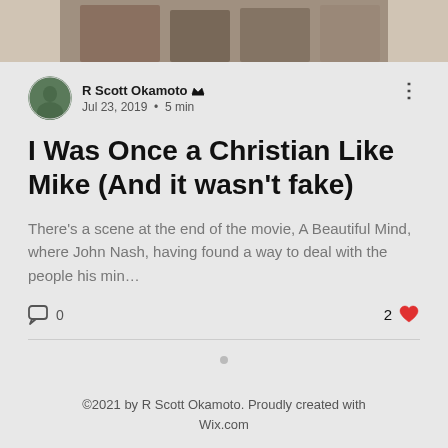[Figure (photo): Cropped photo strip at top of page showing people outdoors]
R Scott Okamoto [crown icon]  Jul 23, 2019  •  5 min
I Was Once a Christian Like Mike (And it wasn't fake)
There's a scene at the end of the movie, A Beautiful Mind, where John Nash, having found a way to deal with the people his min…
0  [comment icon]    2 [heart icon]
©2021 by R Scott Okamoto. Proudly created with Wix.com